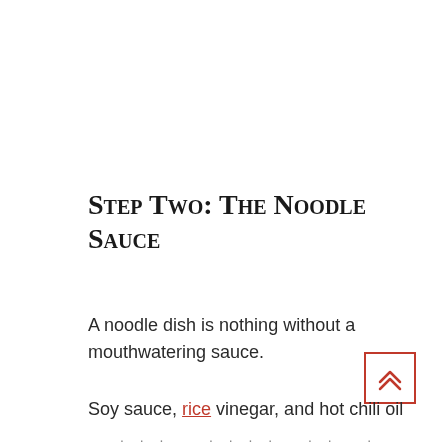Step Two: The Noodle Sauce
A noodle dish is nothing without a mouthwatering sauce.
Soy sauce, rice vinegar, and hot chili oil ...
[Figure (other): Scroll-to-top button with double chevron up arrow inside a red border square]